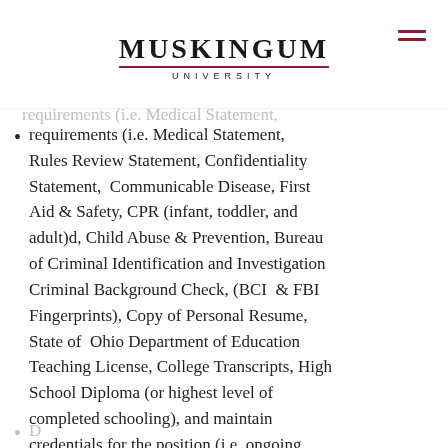Muskingum University
requirements (i.e. Medical Statement, Rules Review Statement, Confidentiality Statement,  Communicable Disease, First Aid & Safety, CPR (infant, toddler, and adult)d, Child Abuse & Prevention, Bureau of Criminal Identification and Investigation Criminal Background Check, (BCI  & FBI Fingerprints), Copy of Personal Resume, State of  Ohio Department of Education Teaching License, College Transcripts, High School Diploma (or highest level of completed schooling), and maintain credentials for the position (i.e. ongoing training & renewal)